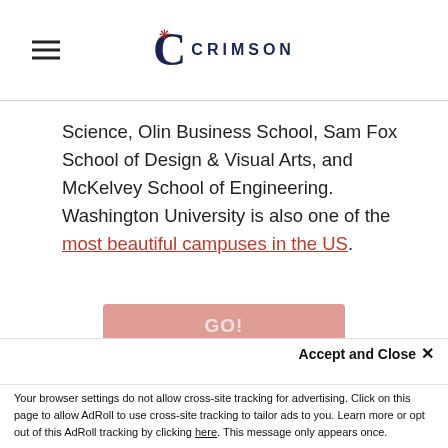CRIMSON
Science, Olin Business School, Sam Fox School of Design & Visual Arts, and McKelvey School of Engineering. Washington University is also one of the most beautiful campuses in the US.
Calculate your chances of admission at Washington University in St. Louis with our College Admissions Calculator
This website uses cookies to ensure you get the best experience on our website. Learn more
Accept and Close ×
Your browser settings do not allow cross-site tracking for advertising. Click on this page to allow AdRoll to use cross-site tracking to tailor ads to you. Learn more or opt out of this AdRoll tracking by clicking here. This message only appears once.